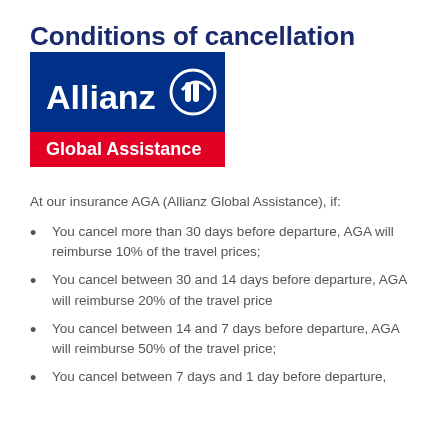Conditions of cancellation
[Figure (logo): Allianz Global Assistance logo — dark blue rectangle with 'Allianz' in white bold text and Allianz circle icon, red bar below with 'Global Assistance' in white bold text]
At our insurance AGA (Allianz Global Assistance), if:
You cancel more than 30 days before departure, AGA will reimburse 10% of the travel prices;
You cancel between 30 and 14 days before departure, AGA will reimburse 20% of the travel price
You cancel between 14 and 7 days before departure, AGA will reimburse 50% of the travel price;
You cancel between 7 days and 1 day before departure,